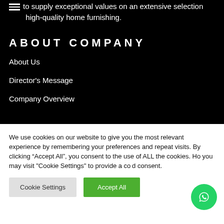to supply exceptional values on an extensive selection high-quality home furnishing.
ABOUT COMPANY
About Us
Director's Message
Company Overview
We use cookies on our website to give you the most relevant experience by remembering your preferences and repeat visits. By clicking “Accept All”, you consent to the use of ALL the cookies. However, you may visit "Cookie Settings" to provide a controlled consent.
Cookie Settings | Accept All